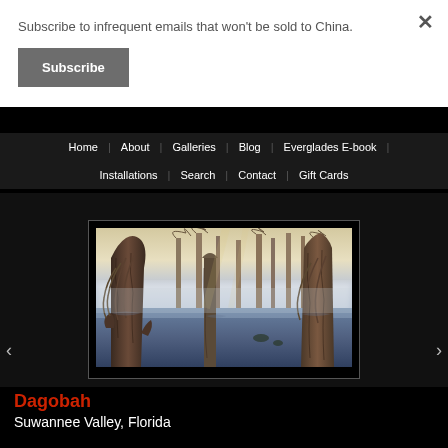Subscribe to infrequent emails that won't be sold to China.
Subscribe
Home | About | Galleries | Blog | Everglades E-book | Installations | Search | Contact | Gift Cards
[Figure (photo): Cypress trees in a swampy river with misty foggy atmosphere, reflections in the water, Suwannee Valley, Florida]
Dagobah
Suwannee Valley, Florida